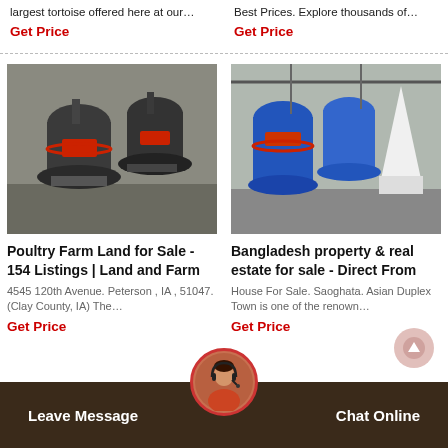largest tortoise offered here at our...
Best Prices. Explore thousands of...
Get Price
Get Price
[Figure (photo): Industrial gray cone mill machines in a factory]
[Figure (photo): Colorful industrial grinding/milling machines (blue, red, white) in a factory]
Poultry Farm Land for Sale - 154 Listings | Land and Farm
Bangladesh property & real estate for sale - Direct From
4545 120th Avenue. Peterson , IA , 51047. (Clay County, IA) The…
House For Sale. Saoghata. Asian Duplex Town is one of the renown…
Get Price
Get Price
Leave Message
Chat Online